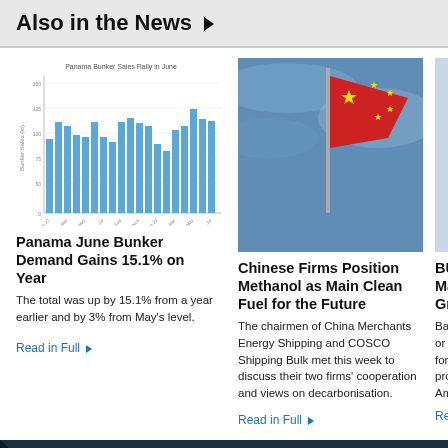Also in the News ▶
[Figure (bar-chart): Panama Bunker Sales Rally in June]
Panama June Bunker Demand Gains 15.1% on Year
The total was up by 15.1% from a year earlier and by 3% from May's level.
Read in Full ▶
[Figure (photo): Chinese red flag waving against blue sky]
Chinese Firms Position Methanol as Main Clean Fuel for the Future
The chairmen of China Merchants Energy Shipping and COSCO Shipping Bulk met this week to discuss their two firms' cooperation and views on decarbonisation.
Read in Full ▶
[Figure (photo): Partially visible snowflake/frost image (cropped)]
BU Ma Gr
Bas or r for pro Am
Rea
Leading the way fo